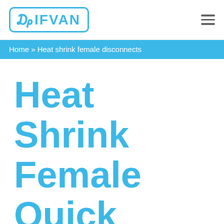[Figure (logo): DIFVAN logo in cyan/blue color with rounded rectangle border]
Home » Heat shrink female disconnects
Heat Shrink Female Quick Disconnects